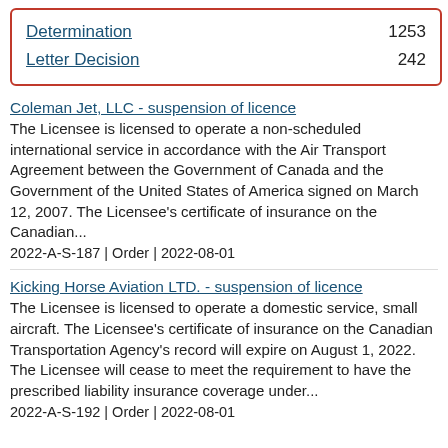| Type | Count |
| --- | --- |
| Determination | 1253 |
| Letter Decision | 242 |
Coleman Jet, LLC - suspension of licence
The Licensee is licensed to operate a non-scheduled international service in accordance with the Air Transport Agreement between the Government of Canada and the Government of the United States of America signed on March 12, 2007. The Licensee's certificate of insurance on the Canadian...
2022-A-S-187 | Order | 2022-08-01
Kicking Horse Aviation LTD. - suspension of licence
The Licensee is licensed to operate a domestic service, small aircraft. The Licensee's certificate of insurance on the Canadian Transportation Agency's record will expire on August 1, 2022. The Licensee will cease to meet the requirement to have the prescribed liability insurance coverage under...
2022-A-S-192 | Order | 2022-08-01